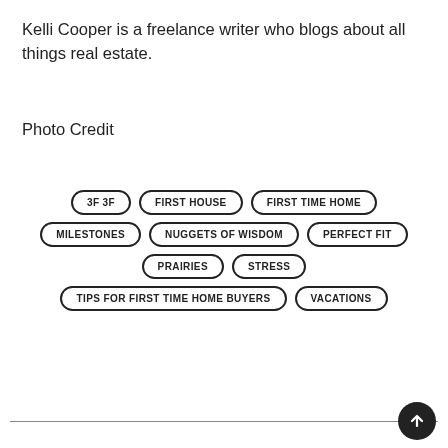Kelli Cooper is a freelance writer who blogs about all things real estate.
Photo Credit
3F 3F
FIRST HOUSE
FIRST TIME HOME
MILESTONES
NUGGETS OF WISDOM
PERFECT FIT
PRAIRIES
STRESS
TIPS FOR FIRST TIME HOME BUYERS
VACATIONS